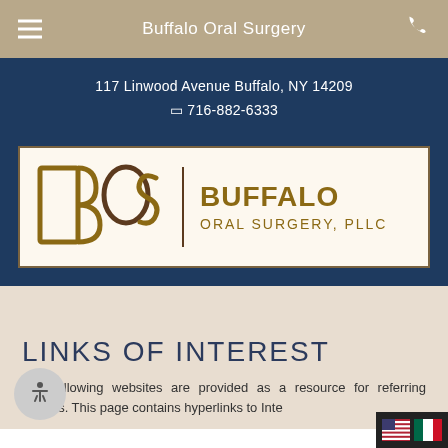Buffalo Oral Surgery
117 Linwood Avenue  Buffalo, NY 14209
📞 716-882-6333
[Figure (logo): Buffalo Oral Surgery PLLC logo with BOS letters and text BUFFALO ORAL SURGERY, PLLC]
LINKS OF INTEREST
The following websites are provided as a resource for referring doctors. This page contains hyperlinks to Internet